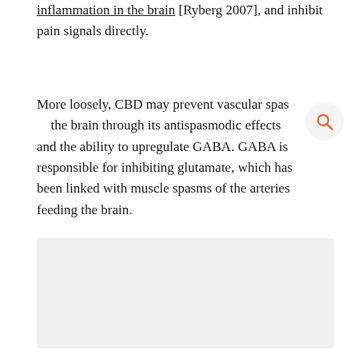inflammation in the brain [Ryberg 2007], and inhibit pain signals directly.
More loosely, CBD may prevent vascular spas the brain through its antispasmodic effects and the ability to upregulate GABA. GABA is responsible for inhibiting glutamate, which has been linked with muscle spasms of the arteries feeding the brain.
[Figure (other): Light gray rectangular placeholder image area]